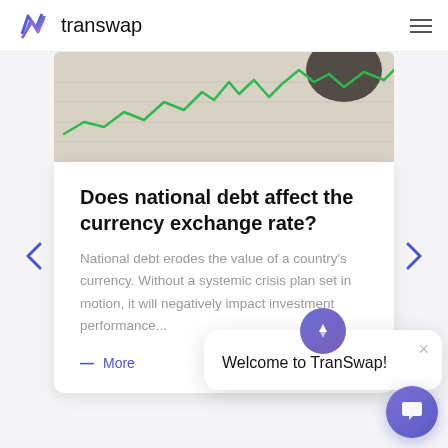transwap
[Figure (photo): A financial chart with green line graph drawn on paper, with a pen or pencil visible, representing currency/market data.]
Does national debt affect the currency exchange rate?
National debt erodes the value of a country's currency. Without a systemic crisis plan set in motion, it will negatively impact investment performance...
— More
Welcome to TranSwap!